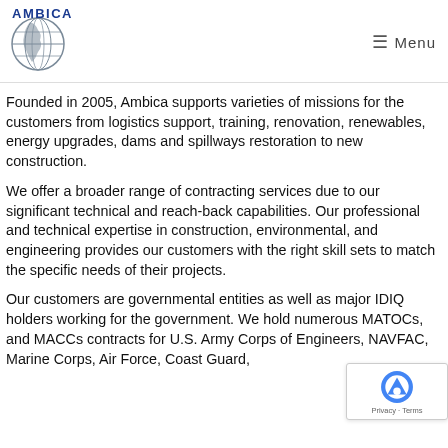AMBICA — Menu
Founded in 2005, Ambica supports varieties of missions for the customers from logistics support, training, renovation, renewables, energy upgrades, dams and spillways restoration to new construction.
We offer a broader range of contracting services due to our significant technical and reach-back capabilities. Our professional and technical expertise in construction, environmental, and engineering provides our customers with the right skill sets to match the specific needs of their projects.
Our customers are governmental entities as well as major IDIQ holders working for the government. We hold numerous MATOCs, and MACCs contracts for U.S. Army Corps of Engineers, NAVFAC, Marine Corps, Air Force, Coast Guard,